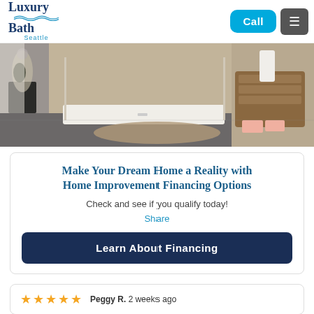[Figure (logo): Luxury Bath Seattle logo with blue wave graphic]
[Figure (photo): Bathroom interior showing a modern walk-in shower with beige tile walls, white shower base, dark wood vanity with pink towels on shelf, decorative glass jar on dark accent table, and dark gray floor tile.]
Make Your Dream Home a Reality with Home Improvement Financing Options
Check and see if you qualify today!
Share
Learn About Financing
Peggy R.  2 weeks ago